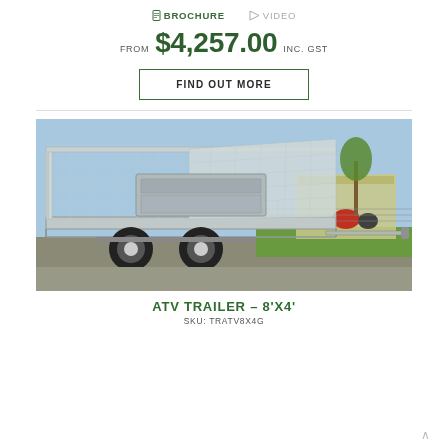BROCHURE   VIDEO
FROM $4,257.00 INC. GST
FIND OUT MORE
[Figure (photo): ATV trailer with cage mesh sides and dual axle wheels, photographed outdoors in a commercial area with grass, a wire fence, industrial buildings and a tree in the background.]
ATV TRAILER – 8'X4'
SKU: TRATV8X4G